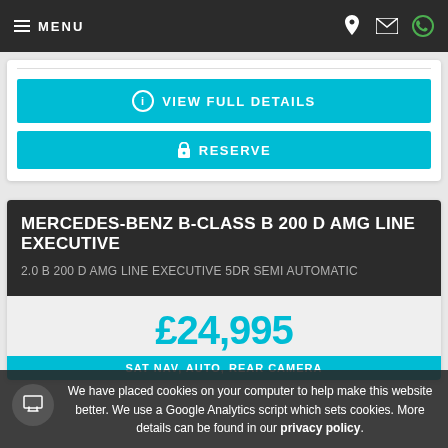MENU
VIEW FULL DETAILS
RESERVE
MERCEDES-BENZ B-CLASS B 200 D AMG LINE EXECUTIVE
2.0 B 200 D AMG LINE EXECUTIVE 5DR SEMI AUTOMATIC
£24,995
SAT NAV, AUTO, REAR CAMERA
We have placed cookies on your computer to help make this website better. We use a Google Analytics script which sets cookies. More details can be found in our privacy policy.